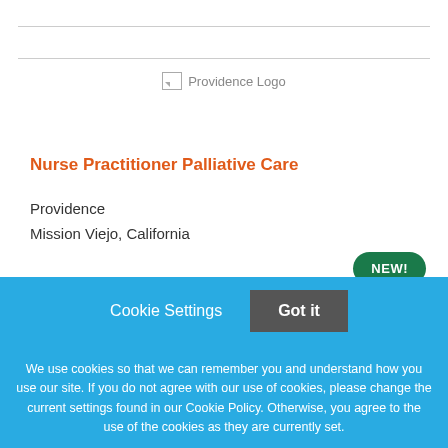[Figure (logo): Providence Logo placeholder image]
Nurse Practitioner Palliative Care
Providence
Mission Viejo, California
NEW!
Cookie Settings
Got it
We use cookies so that we can remember you and understand how you use our site. If you do not agree with our use of cookies, please change the current settings found in our Cookie Policy. Otherwise, you agree to the use of the cookies as they are currently set.